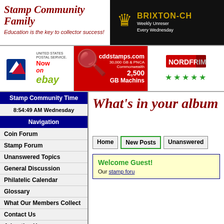[Figure (logo): Stamp Community Family logo with italic script text and subtitle 'Education is the key to collector success!']
[Figure (logo): Brixton-CH banner with crown icon on black background, 'Weekly Unreser... Every Wednesday']
[Figure (logo): USPS 'Now on ebay' advertisement]
[Figure (logo): cddstamps.com ad: 30,000 GB & PNCA Commonwealth, 2,500 GB Machins]
[Figure (logo): Nordfrim logo with red flag graphic and five green stars]
Stamp Community Time
8:54:49 AM Wednesday
Navigation
Coin Forum
Stamp Forum
Unanswered Topics
General Discussion
Philatelic Calendar
Glossary
What Our Members Collect
Contact Us
Advertise Here
SCF Reccomended
What's in your album
Home | New Posts | Unanswered
Welcome Guest!
Our stamp foru